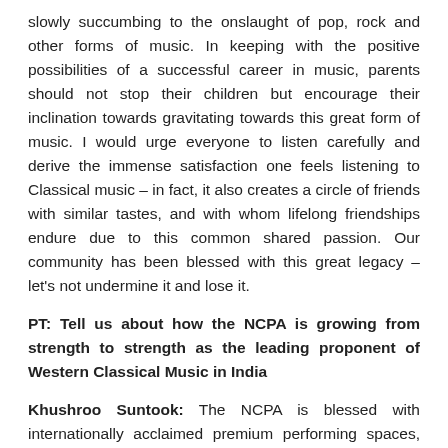slowly succumbing to the onslaught of pop, rock and other forms of music. In keeping with the positive possibilities of a successful career in music, parents should not stop their children but encourage their inclination towards gravitating towards this great form of music. I would urge everyone to listen carefully and derive the immense satisfaction one feels listening to Classical music – in fact, it also creates a circle of friends with similar tastes, and with whom lifelong friendships endure due to this common shared passion. Our community has been blessed with this great legacy – let's not undermine it and lose it.
PT: Tell us about how the NCPA is growing from strength to strength as the leading proponent of Western Classical Music in India
Khushroo Suntook: The NCPA is blessed with internationally acclaimed premium performing spaces, which musicians from India and the world over, aspire to perform at. Our Founder, Dr Jamshed J Bhabha, was himself extremely passionate about Western Classical Music and encouraged me in the promotion of this great genre. His support for my musical director, Marat and myself, towards establishing the Symphony Orchestra of India,